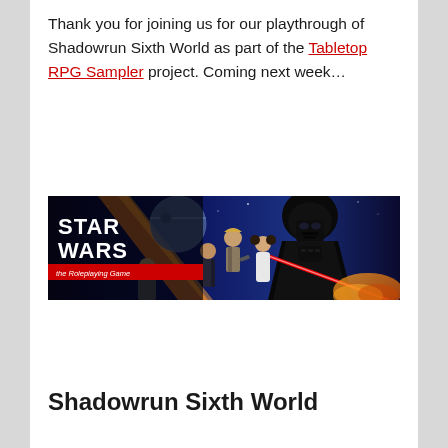Thank you for joining us for our playthrough of Shadowrun Sixth World as part of the Tabletop RPG Sampler project. Coming next week…
[Figure (illustration): Star Wars: The Roleplaying Game banner image featuring Darth Vader, Luke Skywalker, Princess Leia, Han Solo, and a planet (Death Star). The STAR WARS logo with a red banner reading 'the Roleplaying Game' is in the upper left.]
Shadowrun Sixth World